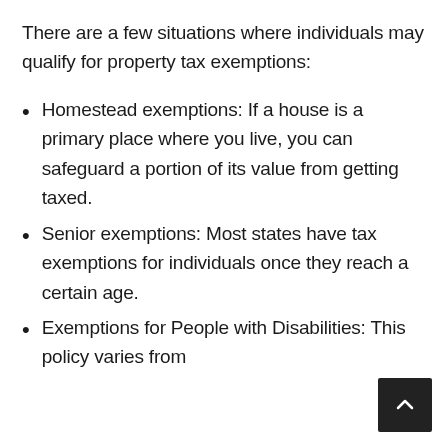There are a few situations where individuals may qualify for property tax exemptions:
Homestead exemptions: If a house is a primary place where you live, you can safeguard a portion of its value from getting taxed.
Senior exemptions: Most states have tax exemptions for individuals once they reach a certain age.
Exemptions for People with Disabilities: This policy varies from